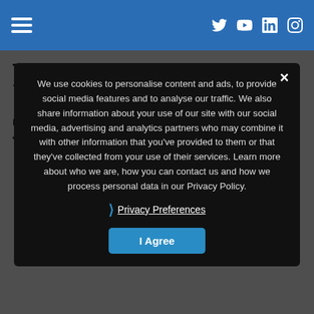Top LegalTech Trends in 2022 You Can't Miss
We use cookies to personalise content and ads, to provide social media features and to analyse our traffic. We also share information about your use of our site with our social media, advertising and analytics partners who may combine it with other information that you've provided to them or that they've collected from your use of their services. Learn more about who we are, how you can contact us and how we process personal data in our Privacy Policy.
Privacy Preferences
I Agree
News & Articles
Top Mental Health Startups in the UK